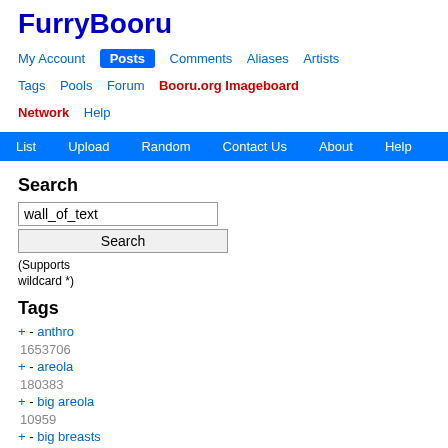FurryBooru
My Account  Posts  Comments  Aliases  Artists  Tags  Pools  Forum  Booru.org Imageboard  Network  Help
List  Upload  Random  Contact Us  About  Help
Search
wall_of_text
Search
(Supports wildcard *)
Tags
+ - anthro 1653706
+ - areola 180383
+ - big areola 10959
+ - big breasts 451896
+ - black nipples 13912
+ - bovid 56803
+ - breasts